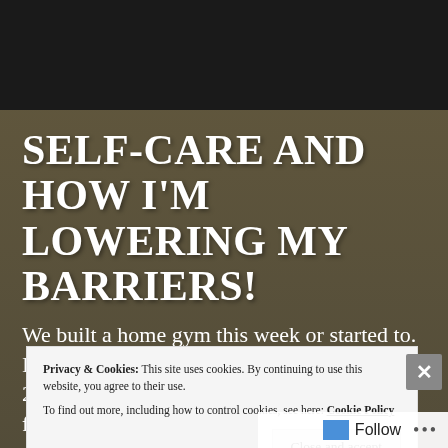[Figure (photo): Background image of a home gym with exercise bikes and equipment, overlaid with a dark/olive tinted background. Top portion shows a dark area.]
SELF-CARE AND HOW I'M LOWERING MY BARRIERS!
We built a home gym this week or started to. I'm thankful it survived the great flood of 2019. Our basement survived some awful flooding due to 11 in
Privacy & Cookies: This site uses cookies. By continuing to use this website, you agree to their use.
To find out more, including how to control cookies, see here: Cookie Policy
Close and accept
Follow